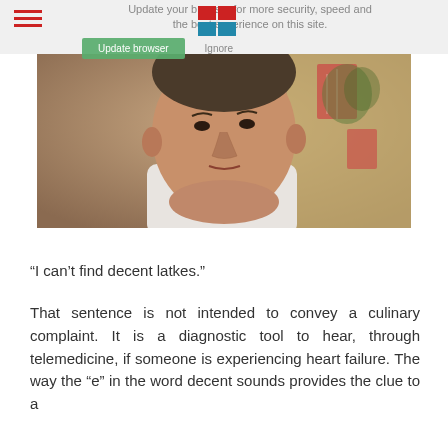Update your browser for more security, speed and the best experience on this site.
[Figure (photo): Close-up photograph of an older man in a white shirt, with a blurred background showing anatomical images on the wall.]
“I can’t find decent latkes.”
That sentence is not intended to convey a culinary complaint. It is a diagnostic tool to hear, through telemedicine, if someone is experiencing heart failure. The way the “e” in the word decent sounds provides the clue to a